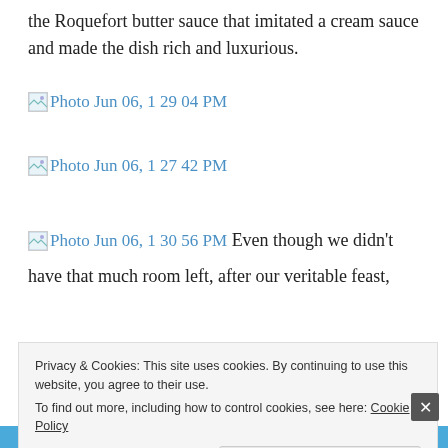the Roquefort butter sauce that imitated a cream sauce and made the dish rich and luxurious.
[Figure (photo): Broken image placeholder labeled 'Photo Jun 06, 1 29 04 PM']
[Figure (photo): Broken image placeholder labeled 'Photo Jun 06, 1 27 42 PM']
[Figure (photo): Broken image placeholder labeled 'Photo Jun 06, 1 30 56 PM']
Even though we didn't have that much room left, after our veritable feast,
Privacy & Cookies: This site uses cookies. By continuing to use this website, you agree to their use. To find out more, including how to control cookies, see here: Cookie Policy
Close and accept